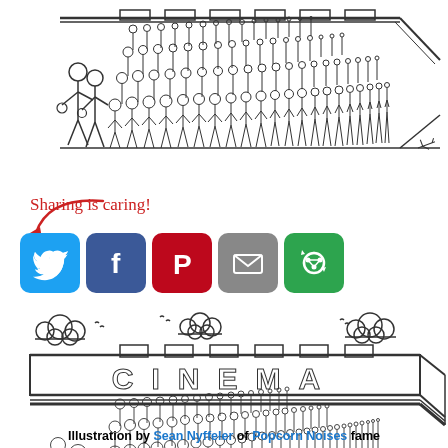[Figure (illustration): Pen-and-ink cartoon showing a large crowd of stick figures queued outside a cinema, viewed from the side. A small figure with a bag stands at the left. An airplane is visible at far right. Top panel.]
[Figure (infographic): Sharing is caring! social sharing buttons: Twitter (blue bird), Facebook (blue F), Pinterest (red P), Email (grey envelope), Flipboard/share (green icon), with a red cursive text and red arrow pointing to buttons.]
[Figure (illustration): Pen-and-ink cartoon showing a large crowd of stick figures queued outside a CINEMA building, viewed from the side. Clouds above. A small figure with a bag stands at the left. An airplane at far right. Bottom panel.]
Illustration by Sean Nyffeler of Popcorn Noises fame